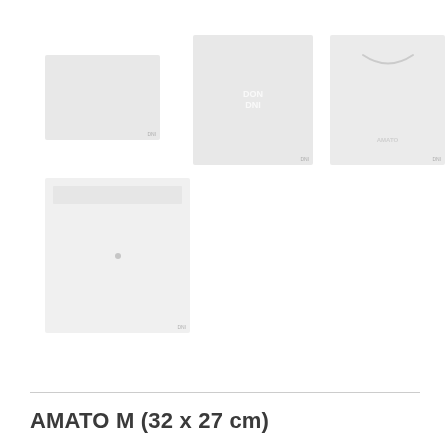[Figure (photo): Four product bag images: top-left (small horizontal rectangular translucent bag), top-center (larger square translucent bag with 'DON DNI' text), top-right (square translucent bag with smile arc and 'AMATO' text), bottom-left (larger square translucent bag with center snap/button detail)]
AMATO M (32 x 27 cm)